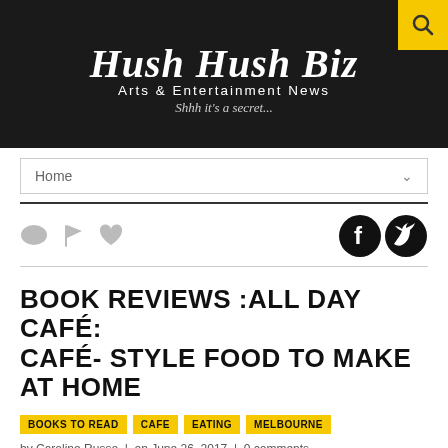[Figure (logo): Hush Hush Biz logo — script font text 'Hush Hush Biz' with subtitle 'Arts & Entertainment News' and tagline 'Shhh it's a secret...' on a dark background. Yellow search icon in top-right corner.]
Home
BOOK REVIEWS :ALL DAY CAFÉ: CAFÉ- STYLE FOOD TO MAKE AT HOME
BOOKS TO READ
CAFE
EATING
MELBOURNE
by Caroline Russo | on June 26, 2017 | 0 comments